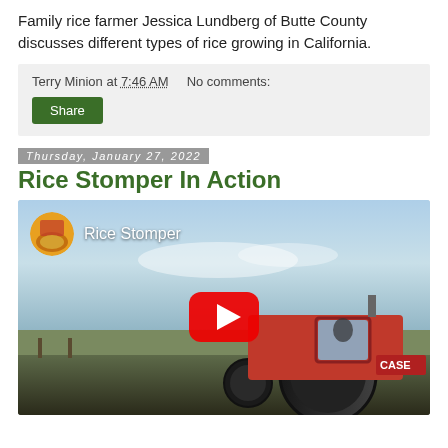Family rice farmer Jessica Lundberg of Butte County discusses different types of rice growing in California.
Terry Minion at 7:46 AM   No comments:
Share
Thursday, January 27, 2022
Rice Stomper In Action
[Figure (screenshot): YouTube video thumbnail showing a large Case IH tractor in a field under a blue sky, with a YouTube play button overlay and the channel name 'Rice Stomper' with a circular channel icon in the top left.]